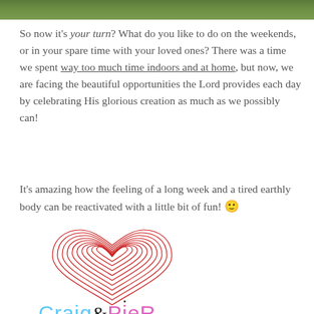[Figure (photo): Partial photo strip at top showing green outdoor/nature scene]
So now it’s your turn? What do you like to do on the weekends, or in your spare time with your loved ones? There was a time we spent way too much time indoors and at home, but now, we are facing the beautiful opportunities the Lord provides each day by celebrating His glorious creation as much as we possibly can!
It’s amazing how the feeling of a long week and a tired earthly body can be reactivated with a little bit of fun! 🙂
[Figure (illustration): Red hand-drawn spiral heart illustration]
[Figure (logo): Craig&Pier signature logo with blue 'Craig', black '&', and pink 'Pier' text]